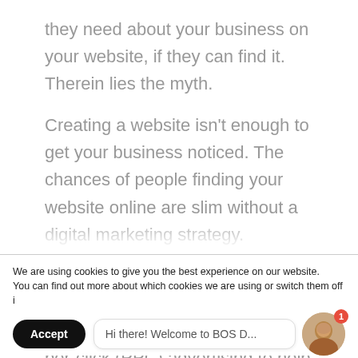they need about your business on your website, if they can find it. Therein lies the myth.
Creating a website isn't enough to get your business noticed. The chances of people finding your website online are slim without a digital marketing strategy.
You must use strategies like search engine optimization (SEO), content development, and pay-per-click (PPC) advertising to help people find your website. Helps you promote your...
We are using cookies to give you the best experience on our website.
You can find out more about which cookies we are using or switch them off i
Accept
Hi there! Welcome to BOS D...